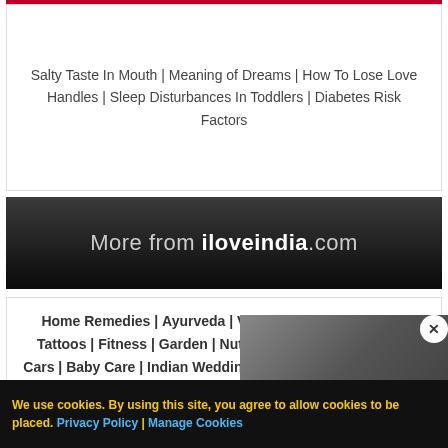Salty Taste In Mouth | Meaning of Dreams | How To Lose Love Handles | Sleep Disturbances In Toddlers | Diabetes Risk Factors
More from iloveindia.com
Home Remedies | Ayurveda | Vastu | Yoga | Feng Shui | Tattoos | Fitness | Garden | Nutrition | Parenting | Bikes | Cars | Baby Care | Indian Weddings | Festivals | Party ideas | Horoscope 2015 | Pets | Finance | Figures of Speech | Hotels in India : Delhi | Hyderabad | Chennai | Mu... | Ahmedabad...
Contact Us  Careers  Disc...  Advertise With Us  Lifesty...
We use cookies. By using this site, you agree to allow cookies to be placed. Privacy Policy | Manage Cookies
[Figure (photo): Video overlay showing a tennis player (Serena Williams) with a white visor and black outfit, mouth open, with a play button overlay]